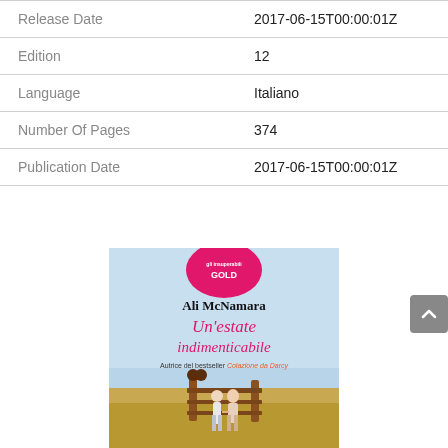| Field | Value |
| --- | --- |
| Release Date | 2017-06-15T00:00:01Z |
| Edition | 12 |
| Language | Italiano |
| Number Of Pages | 374 |
| Publication Date | 2017-06-15T00:00:01Z |
[Figure (photo): Book cover of 'Un'estate indimenticabile' by Ali McNamara, with a pink 'Gli Insuperabili Gold' badge at top, author name in black, title in pink, subtitle 'Autrice del bestseller Colazione da Darcy' and an image of two people on a coastal fence.]